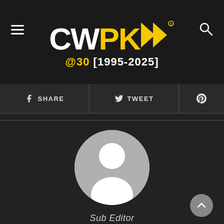[Figure (logo): CWPK logo with yellow arrows and @30 [1995-2025] subtitle on dark background]
SHARE
TWEET
Pinterest icon
[Figure (illustration): Generic user avatar silhouette in a grey circle]
Sub Editor